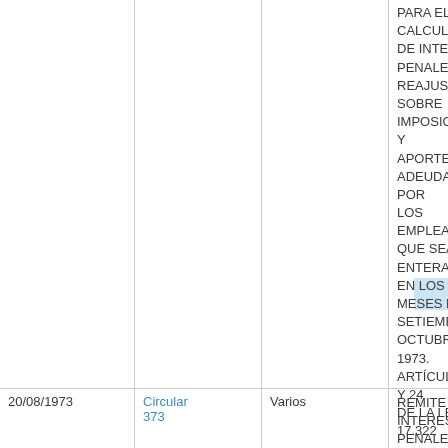| Fecha | Documento | Destinatario | Materia |
| --- | --- | --- | --- |
|  |  |  | PARA EL CALCULO DE INTERESES PENALES Y REAJUSTES SOBRE IMPOSICIONES Y APORTES ADEUDADOS POR LOS EMPLEADORES QUE SEAN ENTERADAS EN LOS MESES DE SETIEMBRE Y OCTUBRE DE 1973. ARTÍCULOS 22° Y 24 DE LA LEY N° 17.322 |
| 20/08/1973 | Circular 373 | Varios | REMITE TABLAS DE INTERESES PENALES Y REAJUSTES PARA LA APLICACIÓN DE LA LEY N° 17.322, CORRESPONDIENTE A LOS MESES DE |